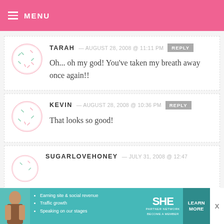MENU
TARAH — AUGUST 28, 2008 @ 11:11 PM REPLY
Oh... oh my god! You’ve taken my breath away once again!!
KEVIN — AUGUST 28, 2008 @ 10:36 PM REPLY
That looks so good!
SUGARLOVEHONEY — JULY 31, 2008 @ 12:47
[Figure (infographic): SHE Partner Network advertisement banner with woman photo, bullets: Earning site & social revenue, Traffic growth, Speaking on our stages. SHE PARTNER NETWORK BECOME A MEMBER. LEARN MORE button.]